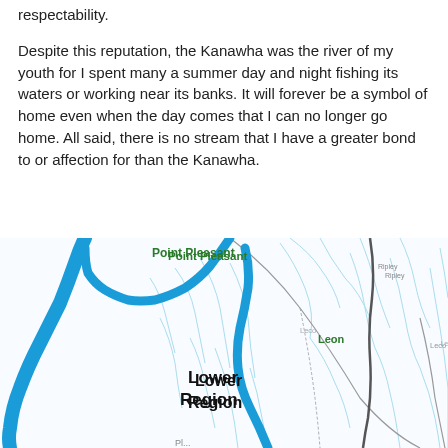respectability.
Despite this reputation, the Kanawha was the river of my youth for I spent many a summer day and night fishing its waters or working near its banks. It will forever be a symbol of home even when the day comes that I can no longer go home. All said, there is no stream that I have a greater bond to or affection for than the Kanawha.
[Figure (map): Map showing the Lower Region of West Virginia with the Ohio River (blue), Point Pleasant labeled in green, Leon labeled in green, and Lower Region labeled in bold black text. River tributaries shown in light blue, county/region boundaries in gray, and a dark line (possibly road or boundary) running through the right side.]